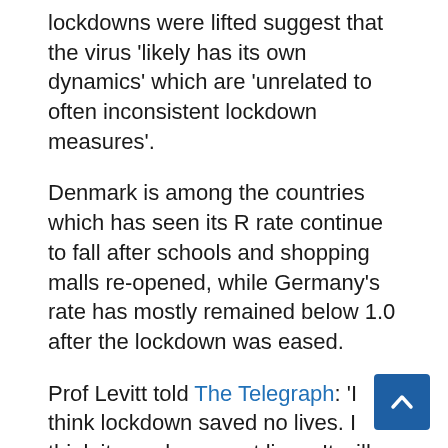lockdowns were lifted suggest that the virus 'likely has its own dynamics' which are 'unrelated to often inconsistent lockdown measures'.
Denmark is among the countries which has seen its R rate continue to fall after schools and shopping malls re-opened, while Germany's rate has mostly remained below 1.0 after the lockdown was eased.
Prof Levitt told The Telegraph: 'I think lockdown saved no lives. I think it may have cost lives. It will have saved a few road accident lives, things like that, but social